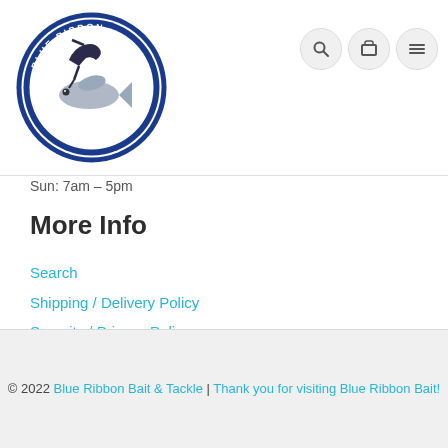[Figure (logo): Blue Ribbon Bait & Tackle circular logo with fish and bird imagery, navy blue border]
Sun: 7am – 5pm
More Info
Search
Shipping / Delivery Policy
Security / Privacy Policy
Terms & Conditions
Back to Top
© 2022 Blue Ribbon Bait & Tackle | Thank you for visiting Blue Ribbon Bait!